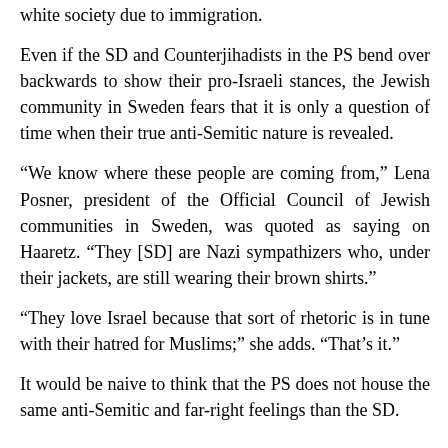white society due to immigration.
Even if the SD and Counterjihadists in the PS bend over backwards to show their pro-Israeli stances, the Jewish community in Sweden fears that it is only a question of time when their true anti-Semitic nature is revealed.
“We know where these people are coming from,” Lena Posner, president of the Official Council of Jewish communities in Sweden, was quoted as saying on Haaretz. “They [SD] are Nazi sympathizers who, under their jackets, are still wearing their brown shirts.”
“They love Israel because that sort of rhetoric is in tune with their hatred for Muslims;” she adds. “That’s it.”
It would be naive to think that the PS does not house the same anti-Semitic and far-right feelings than the SD.